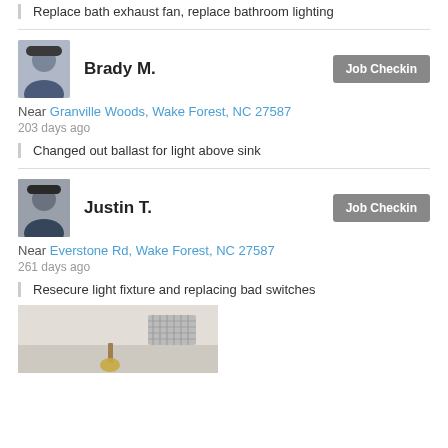Replace bath exhaust fan, replace bathroom lighting
Brady M.
Job Checkin
Near Granville Woods, Wake Forest, NC 27587
203 days ago
Changed out ballast for light above sink
Justin T.
Job Checkin
Near Everstone Rd, Wake Forest, NC 27587
261 days ago
Resecure light fixture and replacing bad switches
[Figure (photo): Photo of ceiling light fixture and ventilation grille]